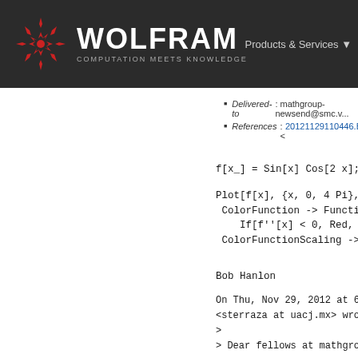WOLFRAM COMPUTATION MEETS KNOWLEDGE — Products & Services
Delivered-to: mathgroup-newsend@smc.v...
References: <20121129110446.BF9AD68...
f[x_] = Sin[x] Cos[2 x];
Plot[f[x], {x, 0, 4 Pi},
 ColorFunction -> Function[{x, y},
   If[f''[x] < 0, Red, Blue]],
 ColorFunctionScaling -> False]
Bob Hanlon
On Thu, Nov 29, 2012 at 6:04 AM, S...
<sterraza at uacj.mx> wrote:
>
> Dear fellows at mathgroup:
>
>
>
> I want to plot a function with...